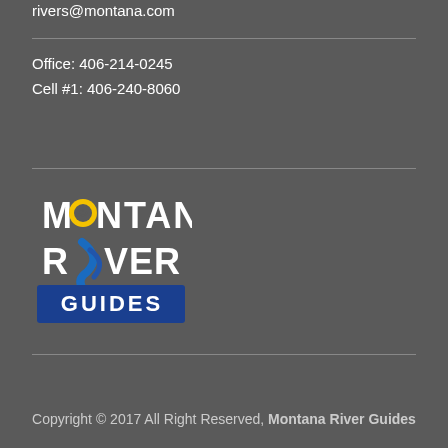rivers@montana.com
Office: 406-214-0245
Cell #1: 406-240-8060
[Figure (logo): Montana River Guides logo with yellow circle, blue swoosh, and text on dark blue banner]
Copyright © 2017 All Right Reserved, Montana River Guides